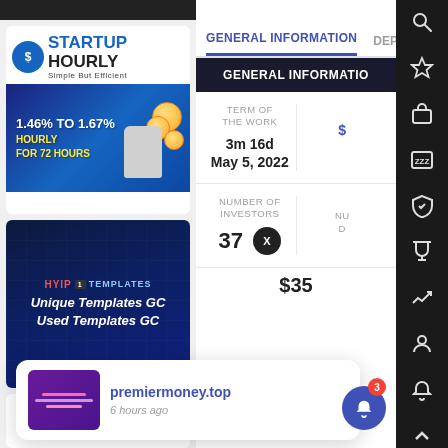[Figure (screenshot): Startup Hourly advertisement banner showing logo and '1.46% TO 1.67% HOURLY FOR 72 HOURS']
[Figure (screenshot): HYIP Templates advertisement showing 'Unique Templates GC / Used Templates GC']
Seasonal
GENERAL INFORMATION
DEPOSITS
| TERM OF THE WORK |  |
| --- | --- |
| 3m 16d
May 5, 2022 |  |
| NUMBER OF INVESTORS |  |
| 37 |  |
premiermoney.top
6 hours ago